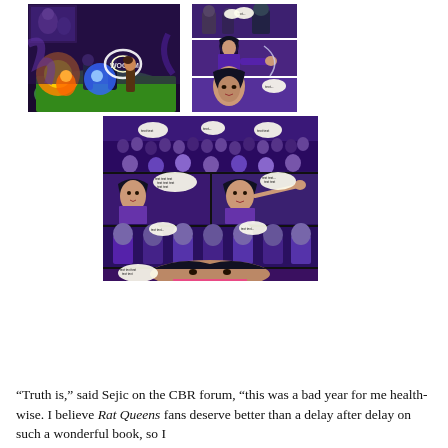[Figure (illustration): Left comic book page spread showing colorful fantasy battle scene with characters fighting, bright energy blasts, green and orange colors, purple background]
[Figure (illustration): Right set of three stacked comic panels showing a dark-haired character in purple coat in various poses with purple/violet backgrounds]
[Figure (illustration): Center comic book page showing multiple panels: crowd scene at top, character dialogue mid panels, seated audience, and close-up of dark-haired character with pink scarf]
“Truth is,” said Sejic on the CBR forum, “this was a bad year for me health-wise. I believe Rat Queens fans deserve better than a delay after delay on such a wonderful book, so I